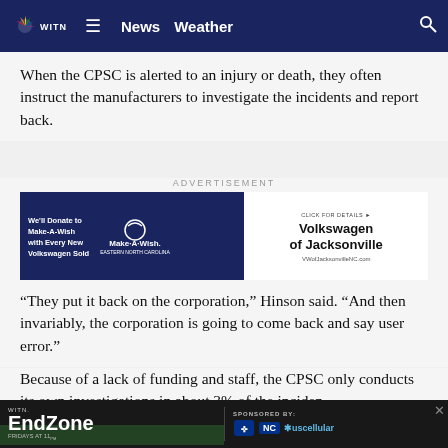WITN News Weather
When the CPSC is alerted to an injury or death, they often instruct the manufacturers to investigate the incidents and report back.
[Figure (other): Advertisement banner for Volkswagen of Jacksonville with Make-A-Wish Eastern North Carolina partnership. Text: We'll Donate to Make-A-Wish with Every New Volkswagen Sold. Click for Details. Volkswagen of Jacksonville. VWofJacksonvilleNC.com]
“They put it back on the corporation,” Hinson said. “And then invariably, the corporation is going to come back and say user error.”
Because of a lack of funding and staff, the CPSC only conducts its own investigations in about 3% of the incidents... less last March.
WITN. EndZone Fridays at 11. Sponsored by: NC Blue Cross Blue Shield. uscellular.